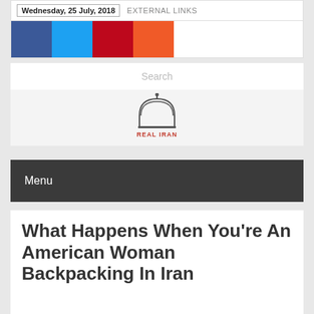Wednesday, 25 July, 2018   EXTERNAL LINKS
[Figure (other): Social share buttons: Facebook (blue), Twitter (light blue), Pinterest (red), RSS/share (orange)]
Search
[Figure (logo): Real Iran website logo — dome/minaret silhouette with text REAL IRAN below]
Menu
What Happens When You're An American Woman Backpacking In Iran